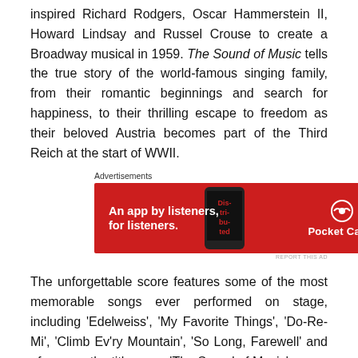inspired Richard Rodgers, Oscar Hammerstein II, Howard Lindsay and Russel Crouse to create a Broadway musical in 1959. The Sound of Music tells the true story of the world-famous singing family, from their romantic beginnings and search for happiness, to their thrilling escape to freedom as their beloved Austria becomes part of the Third Reich at the start of WWII.
Advertisements
[Figure (other): Advertisement banner for Pocket Casts app: red background with text 'An app by listeners, for listeners.' and a stylized phone image with the Pocket Casts logo and name.]
The unforgettable score features some of the most memorable songs ever performed on stage, including 'Edelweiss', 'My Favorite Things', 'Do-Re-Mi', 'Climb Ev'ry Mountain', 'So Long, Farewell' and of course, the title song, 'The Sound of Music'.